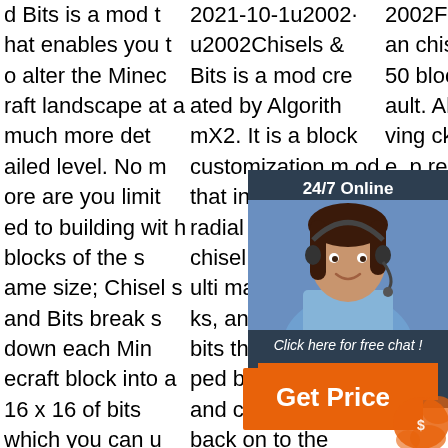d Bits is a mod that enables you to alter the Minecraft landscape at a much more detailed level. No more are you limited to building with blocks of the same size; Chisels and Bits breaks down each Minecraft block into a 16 x 16 of bits which you can use to achieve incredible levels of
2021-10-1u2002·u2002Chisels & Bits is a mod created by AlgorithmX2. It is a block customization mod that includes a radial menu of chisel modes, multi material blocks, and reusable bits that are dropped by the chisel and can be added back on to the modified block. Blocks can be cus
2002Features. Can chisel up to 250 blocks by default. Allows removing blocks. Has, e, re. any req
[Figure (photo): Chat support widget with woman wearing headset, '24/7 Online' label, 'Click here for free chat!' text, and orange QUOTATION button]
[Figure (other): Orange 'Get Price' button with decorative splat graphic]